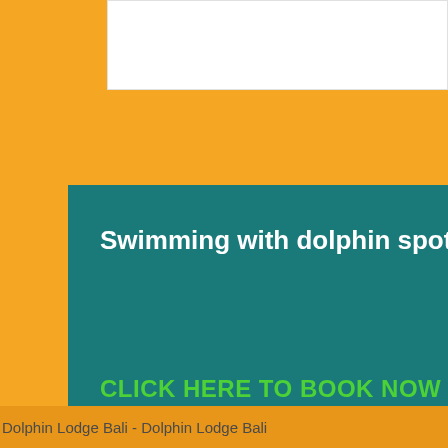[Figure (screenshot): Partial white card visible at top of page]
Swimming with dolphin spot
sw... do... (partially visible right card text)
CLICK HERE TO BOOK NOW
Dolphin Lodge Bali - Dolphin Lodge Bali